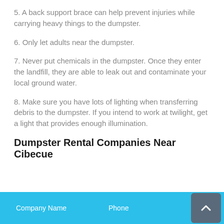5. A back support brace can help prevent injuries while carrying heavy things to the dumpster.
6. Only let adults near the dumpster.
7. Never put chemicals in the dumpster. Once they enter the landfill, they are able to leak out and contaminate your local ground water.
8. Make sure you have lots of lighting when transferring debris to the dumpster. If you intend to work at twilight, get a light that provides enough illumination.
Dumpster Rental Companies Near Cibecue
| Company Name | Phone |
| --- | --- |